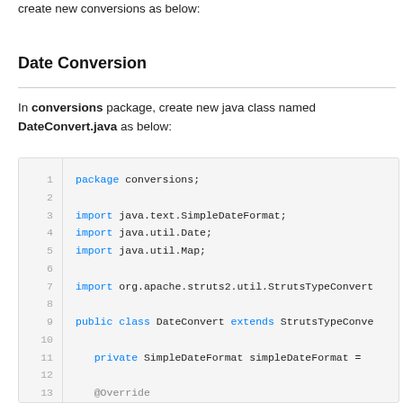create new conversions as below:
Date Conversion
In conversions package, create new java class named DateConvert.java as below:
[Figure (screenshot): Java code block showing DateConvert class with line numbers 1-15, including package declaration, imports for SimpleDateFormat, Date, Map, StrutsTypeConverter, class declaration, private SimpleDateFormat field, @Override annotation, and convertFromString method signature beginning with try {]